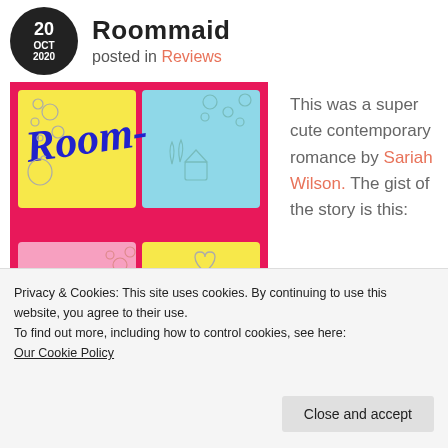20 OCT 2020
Roommaid
posted in Reviews
[Figure (illustration): Book cover of 'Roommaid' by Sariah Wilson. Colorful sticky notes on a hot pink background spelling out 'Room-maid' in blue handwritten lettering, with small doodles of bubbles, an apple, a bunny, a bucket, and a heart.]
This was a super cute contemporary romance by Sariah Wilson. The gist of the story is this:
Privacy & Cookies: This site uses cookies. By continuing to use this website, you agree to their use.
To find out more, including how to control cookies, see here:
Our Cookie Policy
Close and accept